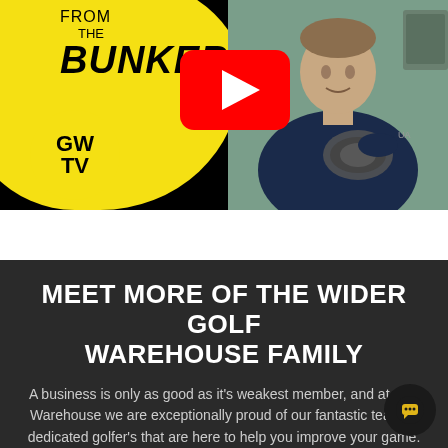[Figure (screenshot): Golf Warehouse TV 'From The Bunker' video thumbnail with yellow blob logo, GWTV circle logo, YouTube play button, and a man holding a golf driver head]
MEET MORE OF THE WIDER GOLF WAREHOUSE FAMILY
A business is only as good as it's weakest member, and at Golf Warehouse we are exceptionally proud of our fantastic team of dedicated golfer's that are here to help you improve your game. We have got a diverse mix of